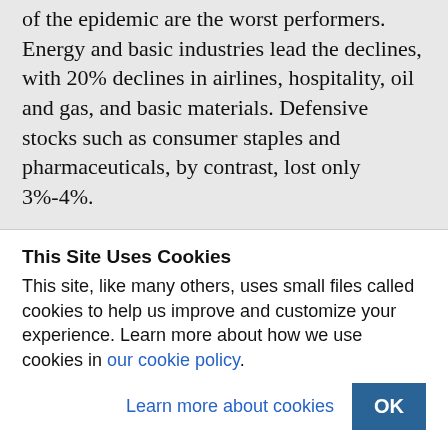of the epidemic are the worst performers. Energy and basic industries lead the declines, with 20% declines in airlines, hospitality, oil and gas, and basic materials. Defensive stocks such as consumer staples and pharmaceuticals, by contrast, lost only 3%-4%.
The German business daily Handelsblatt today reported that the German
This Site Uses Cookies
This site, like many others, uses small files called cookies to help us improve and customize your experience. Learn more about how we use cookies in our cookie policy.
Learn more about cookies
OK